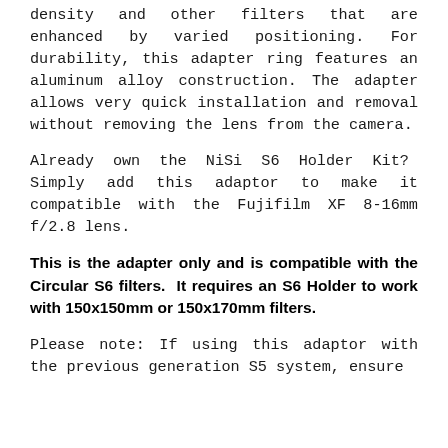density and other filters that are enhanced by varied positioning. For durability, this adapter ring features an aluminum alloy construction. The adapter allows very quick installation and removal without removing the lens from the camera.
Already own the NiSi S6 Holder Kit?  Simply add this adaptor to make it compatible with the Fujifilm XF 8-16mm f/2.8 lens.
This is the adapter only and is compatible with the Circular S6 filters.  It requires an S6 Holder to work with 150x150mm or 150x170mm filters.
Please note: If using this adaptor with the previous generation S5 system, ensure